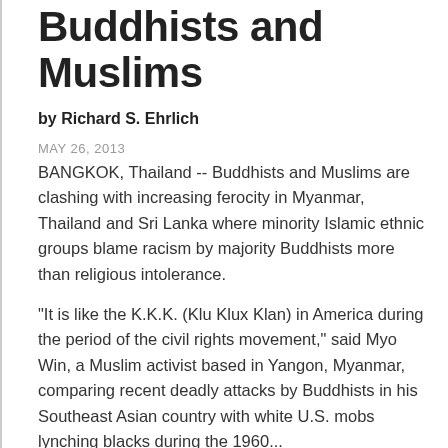Buddhists and Muslims
by Richard S. Ehrlich
MAY 26, 2013
BANGKOK, Thailand -- Buddhists and Muslims are clashing with increasing ferocity in Myanmar, Thailand and Sri Lanka where minority Islamic ethnic groups blame racism by majority Buddhists more than religious intolerance.
"It is like the K.K.K. (Klu Klux Klan) in America during the period of the civil rights movement," said Myo Win, a Muslim activist based in Yangon, Myanmar, comparing recent deadly attacks by Buddhists in his Southeast Asian country with white U.S. mobs lynching blacks during the 1960...